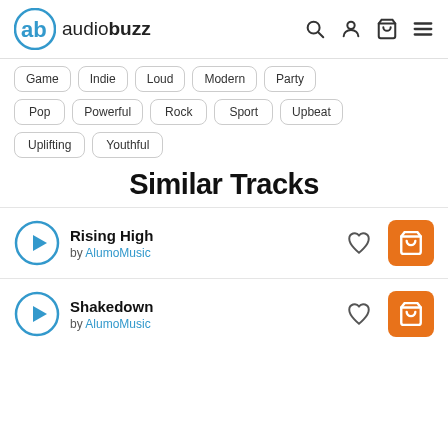audiobuzz
Game
Indie
Loud
Modern
Party
Pop
Powerful
Rock
Sport
Upbeat
Uplifting
Youthful
Similar Tracks
Rising High by AlumoMusic
Shakedown by AlumoMusic